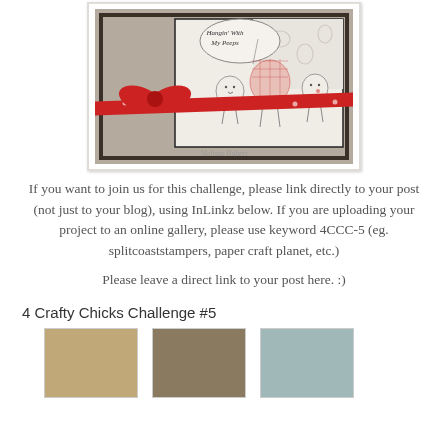[Figure (photo): A handmade greeting card featuring cartoon chick/bird characters with plaid and polka dot patterns, a red ribbon bow, embossed background, and a speech bubble saying 'Hangin' With My Peeps'. Watermark reads 'Melissa Hubert'.]
If you want to join us for this challenge, please link directly to your post (not just to your blog), using InLinkz below. If you are uploading your project to an online gallery, please use keyword 4CCC-5 (eg. splitcoaststampers, paper craft planet, etc.)
Please leave a direct link to your post here. :)
4 Crafty Chicks Challenge #5
[Figure (photo): Three thumbnail images of crafting projects for the 4 Crafty Chicks Challenge #5.]